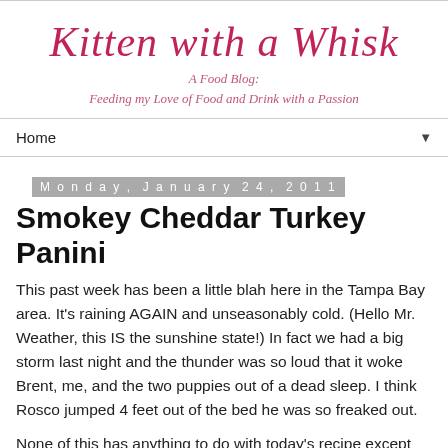Kitten with a Whisk
A Food Blog:
Feeding my Love of Food and Drink with a Passion
Home
Monday, January 24, 2011
Smokey Cheddar Turkey Panini
This past week has been a little blah here in the Tampa Bay area. It’s raining AGAIN and unseasonably cold. (Hello Mr. Weather, this IS the sunshine state!) In fact we had a big storm last night and the thunder was so loud that it woke Brent, me, and the two puppies out of a dead sleep. I think Rosco jumped 4 feet out of the bed he was so freaked out.
None of this has anything to do with today’s recipe except